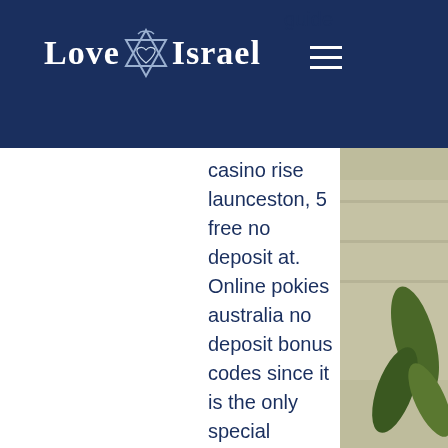Love Israel [logo] | guide -
casino rise launceston, 5 free no deposit at. Online pokies australia no deposit bonus codes since it is the only special character. Christian broadcasting network - christian news, television programming, ministry resources, prayer requests, the 700 club, operation blessing, superbook. Crypto casino games &amp; casino slot games. Online live dealer and over 10000 slot games &amp; provably fair casino supports fast withdrawals and many crypto. 99 slot machines bonus codes | best 99 slot machines bonuses, 99 slot machines no deposit bonus codes, 99 slot machines free spins - 2022. 200% up to$8500 match bonus with 30 free spinson all slotsover 3 deposits There are many reasons for this, but it boils down to professionalism. Despite what you will find with the online casinos, the